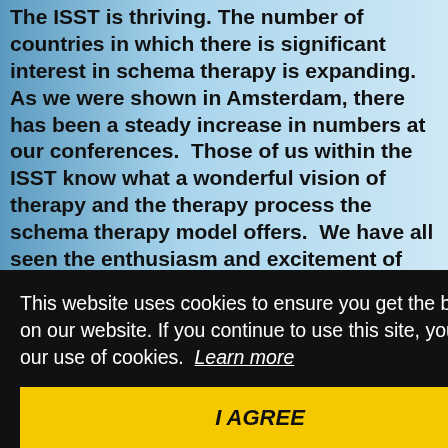The ISST is thriving. The number of countries in which there is significant interest in schema therapy is expanding.  As we were shown in Amsterdam, there has been a steady increase in numbers at our conferences.  Those of us within the ISST know what a wonderful vision of therapy and the therapy process the schema therapy model offers.  We have all seen the enthusiasm and excitement of therapists from more limited traditions when they encounter the flexibility
This website uses cookies to ensure you get the best experience on our website. If you continue to use this site, you consent to our use of cookies.  Learn more
I AGREE
the ISST with colleagues whom I know are dedicated,